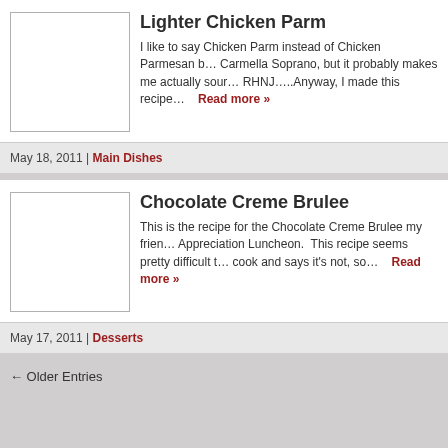Lighter Chicken Parm
I like to say Chicken Parm instead of Chicken Parmesan b… Carmella Soprano, but it probably makes me actually sour… RHNJ…..Anyway, I made this recipe…
Read more »
May 18, 2011 | Main Dishes
Chocolate Creme Brulee
This is the recipe for the Chocolate Creme Brulee my frien… Appreciation Luncheon.  This recipe seems pretty difficult t… cook and says it's not, so…
Read more »
May 17, 2011 | Desserts
← Older Entries